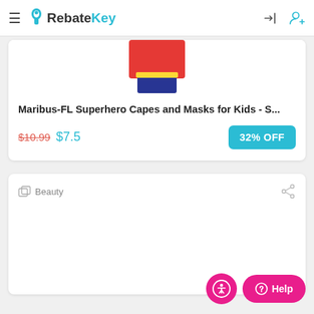RebateKey
[Figure (photo): Partial product image of a superhero cape in red and blue colors, cropped at top]
Maribus-FL Superhero Capes and Masks for Kids - S...
$10.99 $7.5  32% OFF
Beauty
[Figure (other): Accessibility and Help buttons at bottom right]